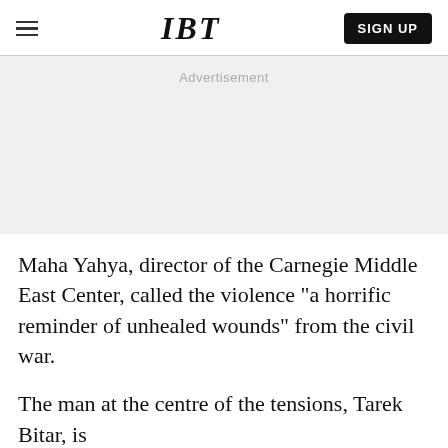IBT
Advertisement
Maha Yahya, director of the Carnegie Middle East Center, called the violence "a horrific reminder of unhealed wounds" from the civil war.
The man at the centre of the tensions, Tarek Bitar, is